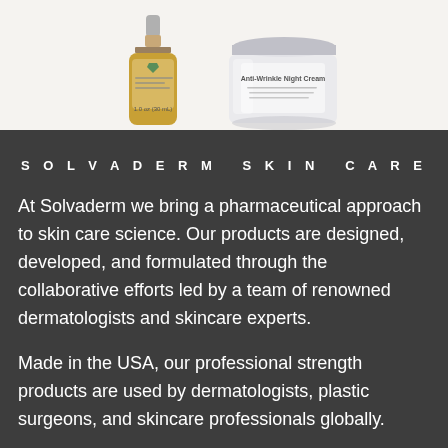[Figure (photo): Two skincare product containers against a light background: a small amber glass bottle with dropper (1.0 oz / 30mL) on the left, and a clear glass jar labeled Anti-Wrinkle Night Cream on the right.]
SOLVADERM SKIN CARE
At Solvaderm we bring a pharmaceutical approach to skin care science. Our products are designed, developed, and formulated through the collaborative efforts led by a team of renowned dermatologists and skincare experts.
Made in the USA, our professional strength products are used by dermatologists, plastic surgeons, and skincare professionals globally.